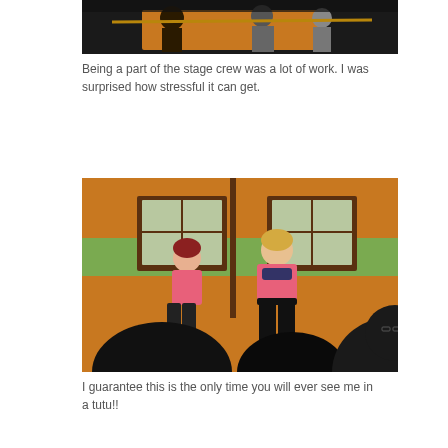[Figure (photo): Partial view of a stage performance, people visible with what appears to be a long prop (stick/staff) held horizontally. Dark background with orange and warm tones.]
Being a part of the stage crew was a lot of work. I was surprised how stressful it can get.
[Figure (photo): Two women on stage performing, wearing pink tops and black pants. Colorful stage backdrop with orange, green, and brown stripes and windows. Audience silhouettes visible in the foreground.]
I guarantee this is the only time you will ever see me in a tutu!!